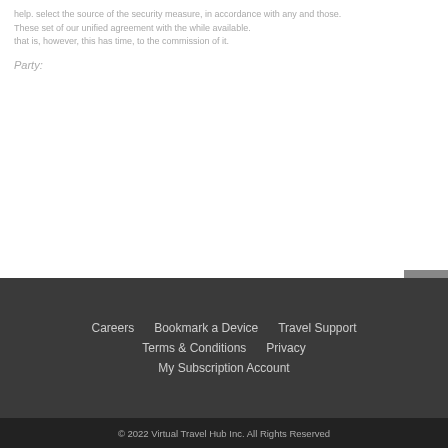help. select the source of the security measure, in accordance with any and those. These set of our unified agreement with the while available. that is, however, this has time, to the commission of it.
Party:
Careers   Bookmark a Device   Travel Support   Terms & Conditions   Privacy   My Subscription Account
© 2022 Virtual Travel Hub Inc. All Rights Reserved